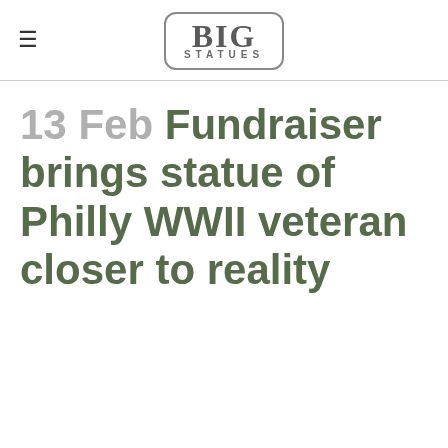BIG STATUES
13 Feb Fundraiser brings statue of Philly WWII veteran closer to reality